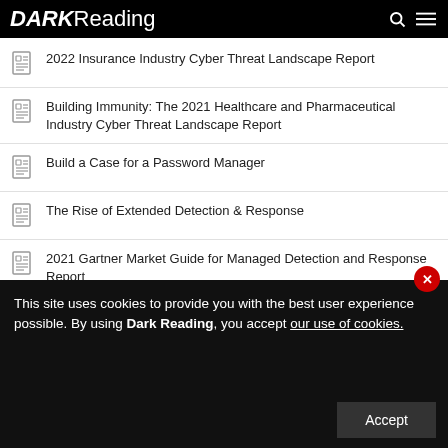DARK Reading
2022 Insurance Industry Cyber Threat Landscape Report
Building Immunity: The 2021 Healthcare and Pharmaceutical Industry Cyber Threat Landscape Report
Build a Case for a Password Manager
The Rise of Extended Detection & Response
2021 Gartner Market Guide for Managed Detection and Response Report
This site uses cookies to provide you with the best user experience possible. By using Dark Reading, you accept our use of cookies.